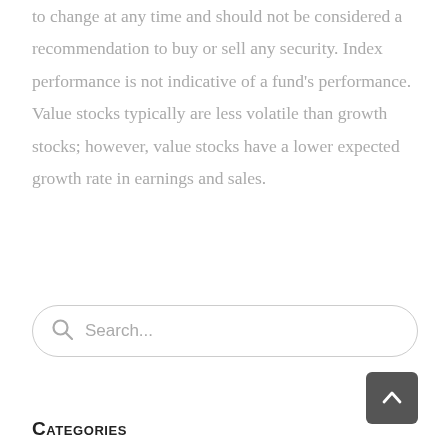to change at any time and should not be considered a recommendation to buy or sell any security. Index performance is not indicative of a fund's performance. Value stocks typically are less volatile than growth stocks; however, value stocks have a lower expected growth rate in earnings and sales.
Search...
Categories